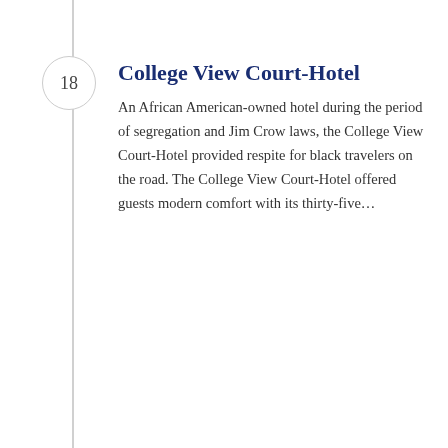18 College View Court-Hotel
An African American-owned hotel during the period of segregation and Jim Crow laws, the College View Court-Hotel provided respite for black travelers on the road. The College View Court-Hotel offered guests modern comfort with its thirty-five...
19 Bridge Street
Bridge Street holds an important legacy of connecting North, South, and East Waco, and serving as a center of community for the city's many ethnic groups. Known as Main Street during Waco's early...